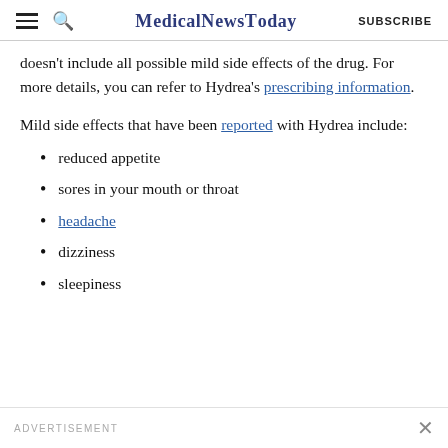MedicalNewsToday SUBSCRIBE
doesn't include all possible mild side effects of the drug. For more details, you can refer to Hydrea's prescribing information.
Mild side effects that have been reported with Hydrea include:
reduced appetite
sores in your mouth or throat
headache
dizziness
sleepiness
ADVERTISEMENT